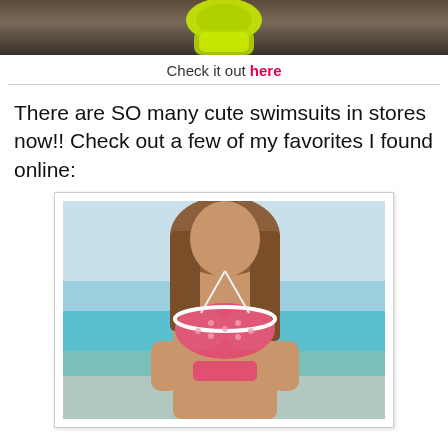[Figure (photo): Cropped top portion of a person wearing a neon yellow/green swimsuit bottom, with a brown/dark background]
Check it out here
There are SO many cute swimsuits in stores now!! Check out a few of my favorites I found online:
[Figure (photo): A woman wearing a pink polka-dot bikini top with white trim, standing in front of a turquoise ocean/beach background]